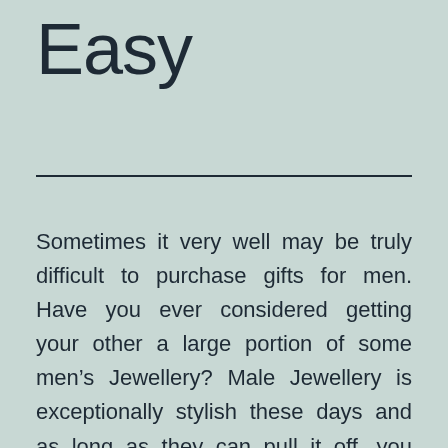Easy
Sometimes it very well may be truly difficult to purchase gifts for men. Have you ever considered getting your other a large portion of some men’s Jewellery? Male Jewellery is exceptionally stylish these days and as long as they can pull it off, you should locate a tremendous scope of options accessible on the